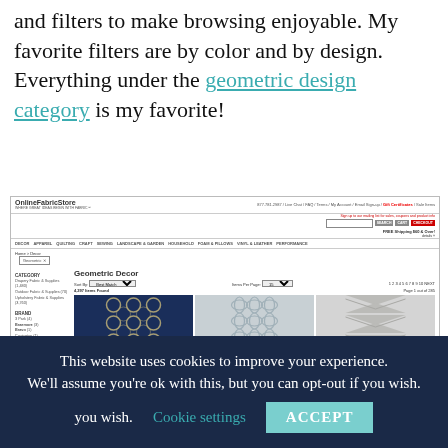and filters to make browsing enjoyable. My favorite filters are by color and by design.  Everything under the geometric design category is my favorite!
[Figure (screenshot): Screenshot of OnlineFabricStore.net website showing Geometric Decor category page with fabric swatches including navy geometric pattern, grey quatrefoil, and grey chevron fabrics. Page shows 4,297 items found, page 1 of 285.]
This website uses cookies to improve your experience. We'll assume you're ok with this, but you can opt-out if you wish.  Cookie settings  ACCEPT